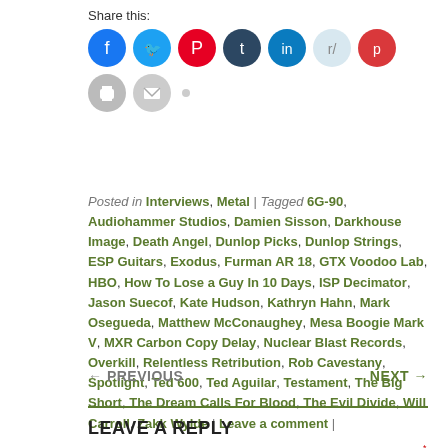Share this:
[Figure (infographic): Row of social sharing icon circles: Facebook (blue), Twitter (light blue), Pinterest (red), Tumblr (dark blue), LinkedIn (teal), Reddit (light blue/grey), Pocket (red), Print (grey), Email (grey), and a small grey dot for more options.]
Posted in Interviews, Metal | Tagged 6G-90, Audiohammer Studios, Damien Sisson, Darkhouse Image, Death Angel, Dunlop Picks, Dunlop Strings, ESP Guitars, Exodus, Furman AR 18, GTX Voodoo Lab, HBO, How To Lose a Guy In 10 Days, ISP Decimator, Jason Suecof, Kate Hudson, Kathryn Hahn, Mark Osegueda, Matthew McConaughey, Mesa Boogie Mark V, MXR Carbon Copy Delay, Nuclear Blast Records, Overkill, Relentless Retribution, Rob Cavestany, Spotlight, Ted 600, Ted Aguilar, Testament, The Big Short, The Dream Calls For Blood, The Evil Divide, Will Carroll, Zakk Wylde | Leave a comment |
← PREVIOUS    NEXT →
LEAVE A REPLY
Your email address will not be published. Required fields are marked *